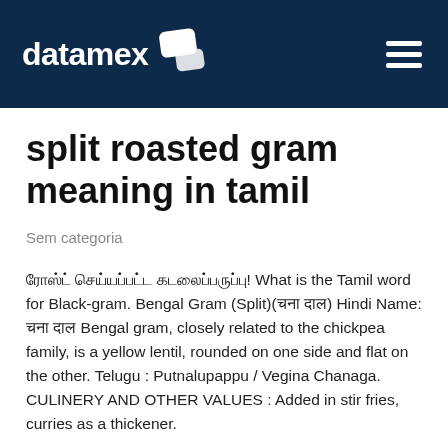datamex
split roasted gram meaning in tamil
Sem categoria
ரோஸ்ட் செய்யப்பட்ட கடலைப்பருப்பு! What is the Tamil word for Black-gram. Bengal Gram (Split)(चना दाल) Hindi Name: चना दाल Bengal gram, closely related to the chickpea family, is a yellow lentil, rounded on one side and flat on the other. Telugu : Putnalupappu / Vegina Chanaga. CULINERY AND OTHER VALUES : Added in stir fries, curries as a thickener.